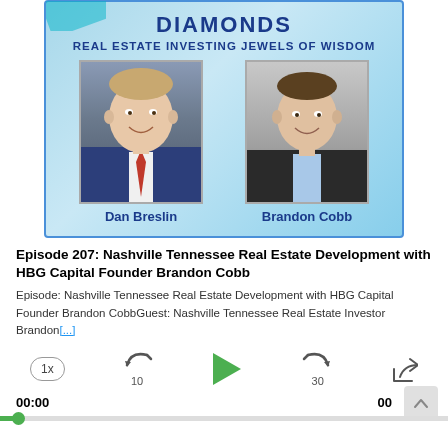[Figure (illustration): Podcast banner for 'Diamonds Real Estate Investing Jewels of Wisdom' showing two hosts: Dan Breslin and Brandon Cobb, with their headshots on a blue gradient background]
Episode 207: Nashville Tennessee Real Estate Development with HBG Capital Founder Brandon Cobb
Episode: Nashville Tennessee Real Estate Development with HBG Capital Founder Brandon CobbGuest: Nashville Tennessee Real Estate Investor Brandon[...]
[Figure (other): Audio player controls: 1x speed button, rewind 10 seconds, play button (green triangle), forward 30 seconds, share button]
00:00
00